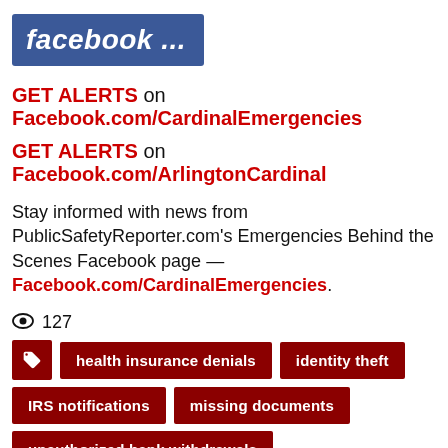[Figure (logo): Facebook logo button with text 'facebook ...' on blue background]
GET ALERTS on Facebook.com/CardinalEmergencies
GET ALERTS on Facebook.com/ArlingtonCardinal
Stay informed with news from PublicSafetyReporter.com's Emergencies Behind the Scenes Facebook page — Facebook.com/CardinalEmergencies.
👁 127
health insurance denials
identity theft
IRS notifications
missing documents
unauthorized bank withdrawals